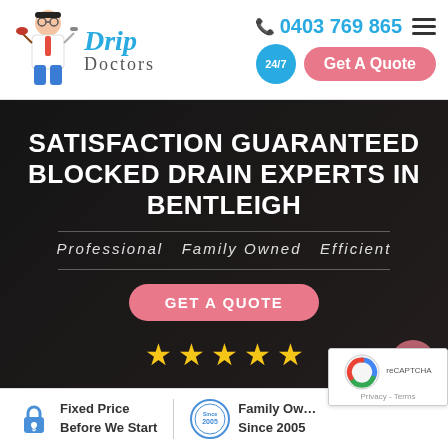[Figure (logo): Drip Doctors logo with plumber character and blue cursive text]
0403 769 865
Get A Quote
SATISFACTION GUARANTEED BLOCKED DRAIN EXPERTS IN BENTLEIGH
Professional  Family Owned  Efficient
GET A QUOTE
[Figure (illustration): Five gold stars rating]
Fixed Price Before We Start
Family Owned Since 2005